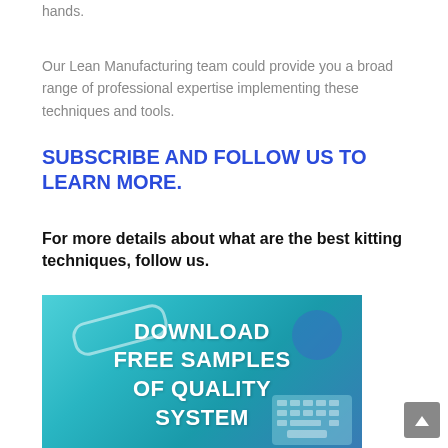hands.
Our Lean Manufacturing team could provide you a broad range of professional expertise implementing these techniques and tools.
SUBSCRIBE AND FOLLOW US TO LEARN MORE.
For more details about what are the best kitting techniques, follow us.
[Figure (photo): Banner image with teal/blue background showing glasses and keyboard, with white text overlay reading: DOWNLOAD FREE SAMPLES OF QUALITY SYSTEM]